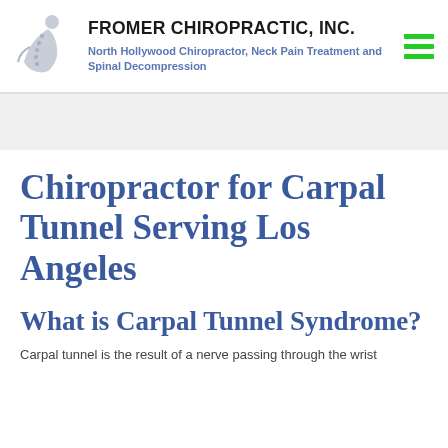FROMER CHIROPRACTIC, INC. — North Hollywood Chiropractor, Neck Pain Treatment and Spinal Decompression
Chiropractor for Carpal Tunnel Serving Los Angeles
What is Carpal Tunnel Syndrome?
Carpal tunnel is the result of a nerve passing through the wrist